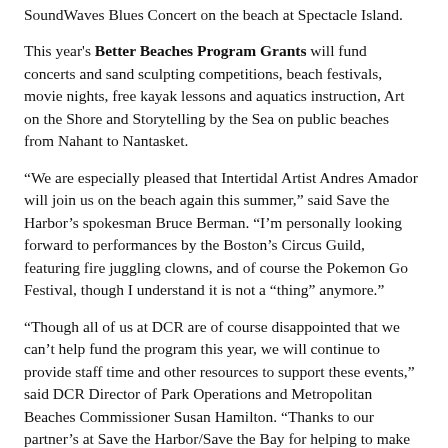SoundWaves Blues Concert on the beach at Spectacle Island.
This year's Better Beaches Program Grants will fund concerts and sand sculpting competitions, beach festivals, movie nights, free kayak lessons and aquatics instruction, Art on the Shore and Storytelling by the Sea on public beaches from Nahant to Nantasket.
“We are especially pleased that Intertidal Artist Andres Amador will join us on the beach again this summer,” said Save the Harbor’s spokesman Bruce Berman. “I’m personally looking forward to performances by the Boston’s Circus Guild, featuring fire juggling clowns, and of course the Pokemon Go Festival, though I understand it is not a “thing” anymore.”
“Though all of us at DCR are of course disappointed that we can’t help fund the program this year, we will continue to provide staff time and other resources to support these events,” said DCR Director of Park Operations and Metropolitan Beaches Commissioner Susan Hamilton. “Thanks to our partner’s at Save the Harbor/Save the Bay for helping to make this summer a great one for the region’s residents and visitors from across the Commonwealth”
At the event on the Fish Pier Save the Harbor/Save the Bay thanked Metropolitan Beaches Commission Co-Chairs Senator